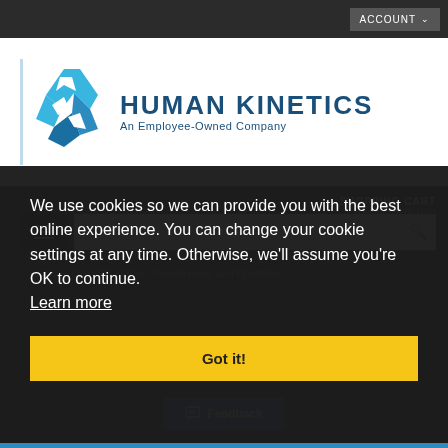ACCOUNT
[Figure (logo): Human Kinetics logo — stylized running figure in blue with text 'HUMAN KINETICS' and 'An Employee-Owned Company']
We use cookies so we can provide you with the best online experience. You can change your cookie settings at any time. Otherwise, we'll assume you're OK to continue. Learn more
Got it!
SHOPPING CART
0 items - $0.00 USD
Search
Home > Dog Park Design, Development, and Operation
Feedback